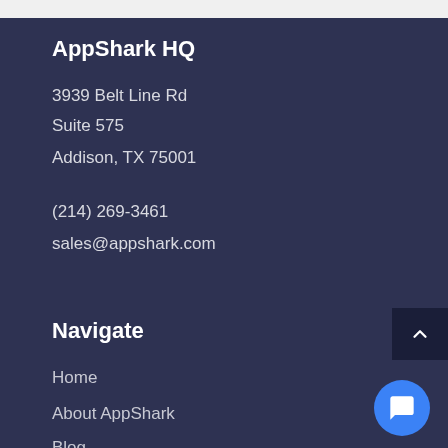AppShark HQ
3939 Belt Line Rd
Suite 575
Addison, TX 75001
(214) 269-3461
sales@appshark.com
Navigate
Home
About AppShark
Blog